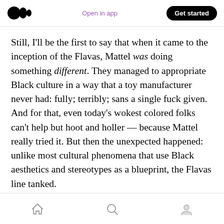Medium logo | Open in app | Get started
Still, I’ll be the first to say that when it came to the inception of the Flavas, Mattel was doing something different. They managed to appropriate Black culture in a way that a toy manufacturer never had: fully; terribly; sans a single fuck given. And for that, even today’s wokest colored folks can’t help but hoot and holler — because Mattel really tried it. But then the unexpected happened: unlike most cultural phenomena that use Black aesthetics and stereotypes as a blueprint, the Flavas line tanked.
Home | Search | Profile